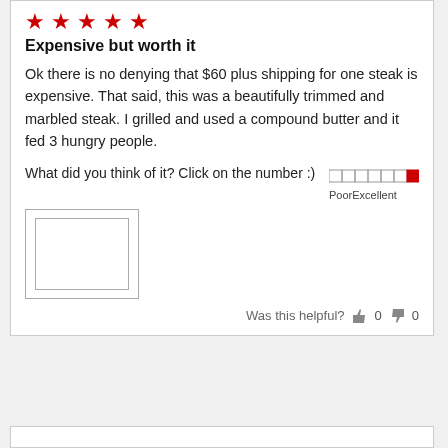[Figure (other): Five red star rating icons]
Expensive but worth it
Ok there is no denying that $60 plus shipping for one steak is expensive. That said, this was a beautifully trimmed and marbled steak. I grilled and used a compound butter and it fed 3 hungry people.
What did you think of it? Click on the number :)
[Figure (other): Rating bar widget with Poor to Excellent scale, last segment highlighted in red]
[Figure (other): Image placeholder box (nested rectangles)]
Was this helpful? 👍 0 👎 0